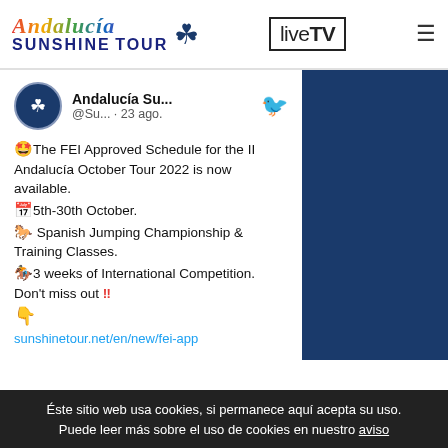Andalucía Sunshine Tour | liveTV
[Figure (screenshot): Tweet from Andalucía Sunshine Tour Twitter account showing FEI Approved Schedule announcement for II Andalucía October Tour 2022, with dates 5th-30th October, Spanish Jumping Championship & Training Classes, 3 weeks of International Competition, and a link to sunshinetour.net/en/new/fei-app]
Éste sitio web usa cookies, si permanece aquí acepta su uso. Puede leer más sobre el uso de cookies en nuestro aviso